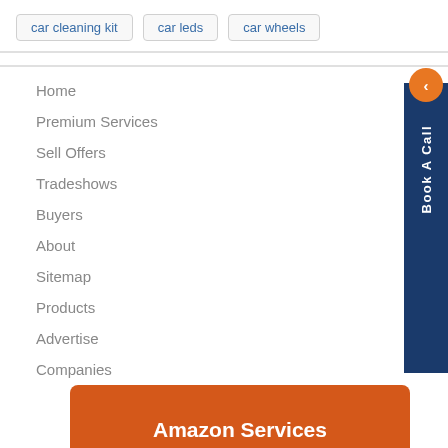car cleaning kit
car leds
car wheels
Home
Premium Services
Sell Offers
Tradeshows
Buyers
About
Sitemap
Products
Advertise
Companies
Trade Alerts
[Figure (screenshot): Book A Call sidebar button with orange circle arrow and dark blue background with vertical text]
Amazon Services